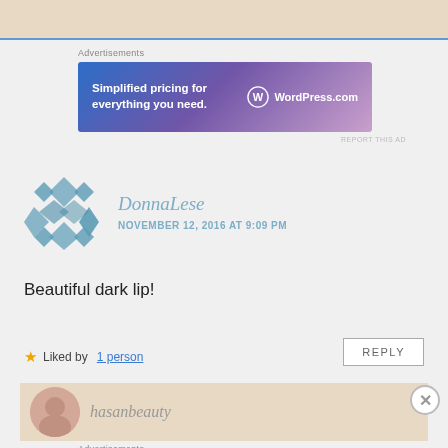[Figure (other): Top beige banner strip]
Advertisements
[Figure (other): WordPress.com advertisement banner: 'Simplified pricing for everything you need. WordPress.com']
REPORT THIS AD
DonnaLese
NOVEMBER 12, 2016 AT 9:09 PM
Beautiful dark lip!
★ Liked by 1 person
REPLY
[Figure (other): Bottom comment section with avatar and username 'hasanbeauty']
Advertisements
[Figure (other): DuckDuckGo advertisement: 'Search, browse, and email with more privacy. All in One Free App']